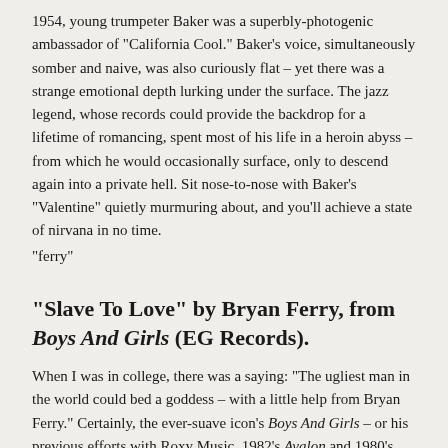1954, young trumpeter Baker was a superbly-photogenic ambassador of "California Cool." Baker's voice, simultaneously somber and naive, was also curiously flat – yet there was a strange emotional depth lurking under the surface. The jazz legend, whose records could provide the backdrop for a lifetime of romancing, spent most of his life in a heroin abyss – from which he would occasionally surface, only to descend again into a private hell. Sit nose-to-nose with Baker's "Valentine" quietly murmuring about, and you'll achieve a state of nirvana in no time.
"ferry"
"Slave To Love" by Bryan Ferry, from Boys And Girls (EG Records).
When I was in college, there was a saying: "The ugliest man in the world could bed a goddess – with a little help from Bryan Ferry." Certainly, the ever-suave icon's Boys And Girls – or his previous efforts with Roxy Music, 1982's Avalon and 1980's Flesh And Blood – still stand as the ultimate